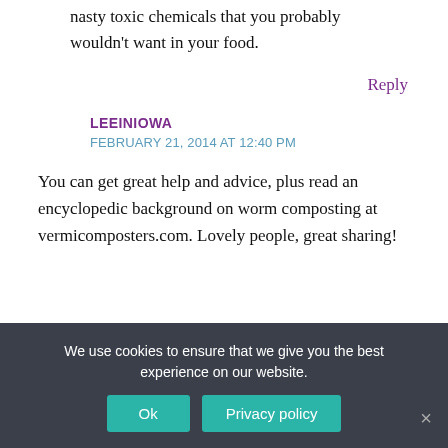nasty toxic chemicals that you probably wouldn't want in your food.
Reply
LEEINIOWA
FEBRUARY 21, 2014 AT 12:40 PM
You can get great help and advice, plus read an encyclopedic background on worm composting at vermicomposters.com. Lovely people, great sharing!
We use cookies to ensure that we give you the best experience on our website.
Ok
Privacy policy